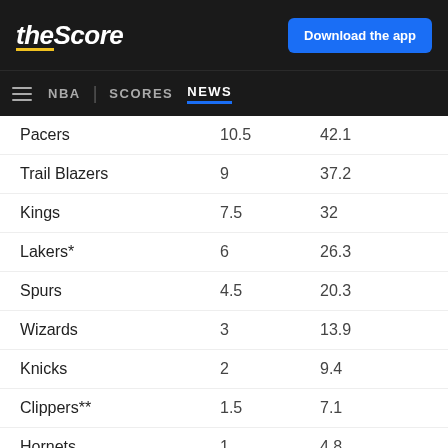theScore | Download the app | NBA | SCORES | NEWS
| Team | Col2 | Col3 |
| --- | --- | --- |
| Pacers | 10.5 | 42.1 |
| Trail Blazers | 9 | 37.2 |
| Kings | 7.5 | 32 |
| Lakers* | 6 | 26.3 |
| Spurs | 4.5 | 20.3 |
| Wizards | 3 | 13.9 |
| Knicks | 2 | 9.4 |
| Clippers** | 1.5 | 7.1 |
| Hornets | 1 | 4.8 |
| Cavaliers | 0.5 | 2.4 |